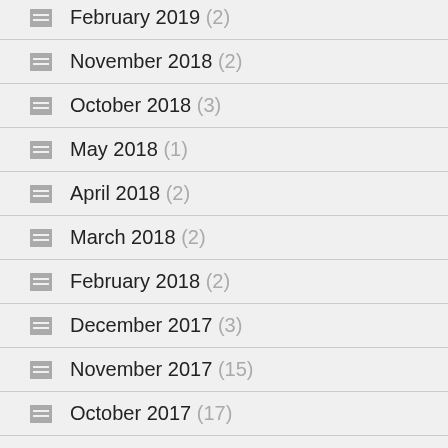February 2019 (2)
November 2018 (2)
October 2018 (3)
May 2018 (1)
April 2018 (2)
March 2018 (2)
February 2018 (2)
December 2017 (3)
November 2017 (15)
October 2017 (17)